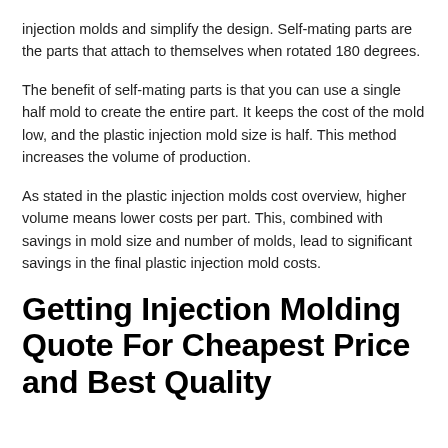injection molds and simplify the design. Self-mating parts are the parts that attach to themselves when rotated 180 degrees.
The benefit of self-mating parts is that you can use a single half mold to create the entire part. It keeps the cost of the mold low, and the plastic injection mold size is half. This method increases the volume of production.
As stated in the plastic injection molds cost overview, higher volume means lower costs per part. This, combined with savings in mold size and number of molds, lead to significant savings in the final plastic injection mold costs.
Getting Injection Molding Quote For Cheapest Price and Best Quality